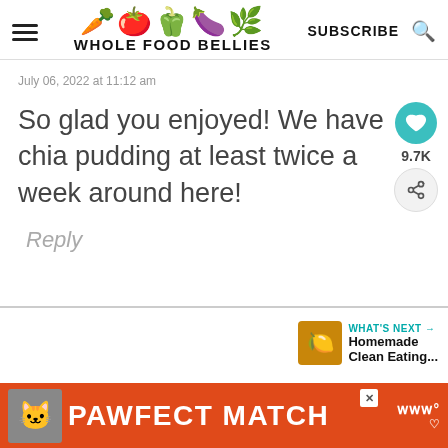WHOLE FOOD BELLIES
July 06, 2022 at 11:12 am
So glad you enjoyed! We have chia pudding at least twice a week around here!
Reply
9.7K
WHAT'S NEXT → Homemade Clean Eating...
[Figure (other): Advertisement banner for PAWFECT MATCH featuring a cat and orange branding]